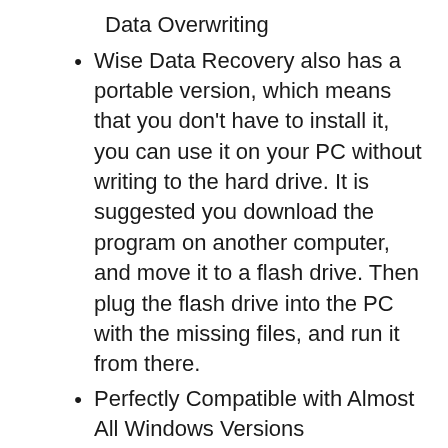Data Overwriting
Wise Data Recovery also has a portable version, which means that you don’t have to install it, you can use it on your PC without writing to the hard drive. It is suggested you download the program on another computer, and move it to a flash drive. Then plug the flash drive into the PC with the missing files, and run it from there.
Perfectly Compatible with Almost All Windows Versions
Wise Data Recovery is a small and absolutely virus-free program that consumes very few system resources. It allows you to recover lost files in your Windows system(64 and 32-bit). It